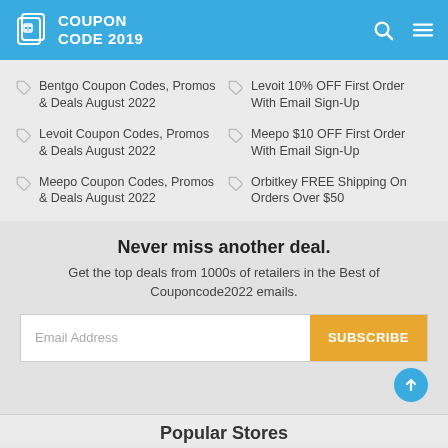COUPON CODE 2019
Bentgo Coupon Codes, Promos & Deals August 2022
Levoit 10% OFF First Order With Email Sign-Up
Levoit Coupon Codes, Promos & Deals August 2022
Meepo $10 OFF First Order With Email Sign-Up
Meepo Coupon Codes, Promos & Deals August 2022
Orbitkey FREE Shipping On Orders Over $50
Never miss another deal.
Get the top deals from 1000s of retailers in the Best of Couponcode2022 emails.
Email Address
SUBSCRIBE
Popular Stores